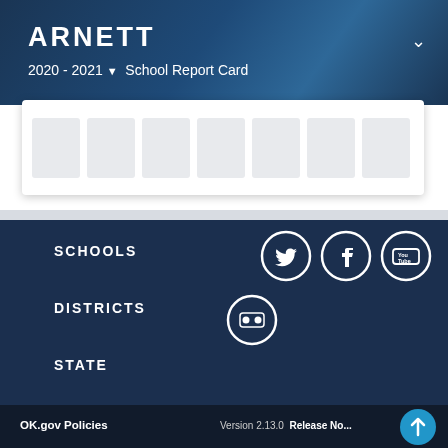ARNETT
2020 - 2021 ▾  School Report Card
[Figure (screenshot): White card with multiple grey column placeholders representing navigation/data tabs]
SCHOOLS
DISTRICTS
STATE
[Figure (infographic): Social media icons row 1: Twitter, Facebook, YouTube circles with white icons on dark navy background]
[Figure (infographic): Social media icon row 2: Flickr circle with white icon on dark navy background]
OK.gov Policies    Version 2.13.0  Release No...